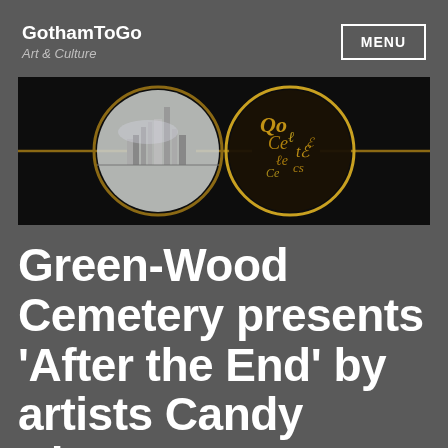GothamToGo Art & Culture
[Figure (photo): Close-up photograph of vintage round eyeglasses on a black background. The left lens reflects a black-and-white cityscape, while the right lens contains gold decorative lettering or script.]
Green-Wood Cemetery presents 'After the End' by artists Candy Chang